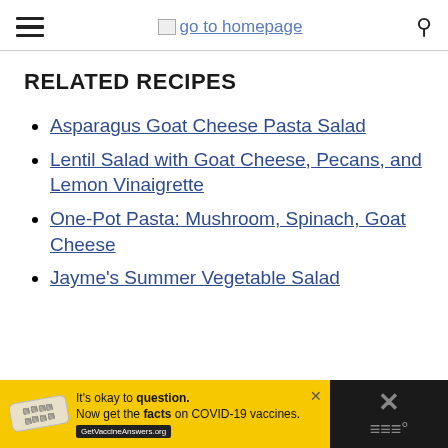go to homepage
RELATED RECIPES
Asparagus Goat Cheese Pasta Salad
Lentil Salad with Goat Cheese, Pecans, and Lemon Vinaigrette
One-Pot Pasta: Mushroom, Spinach, Goat Cheese
Jayme's Summer Vegetable Salad
[Figure (screenshot): Advertisement banner: yellow background with 'It's okay to question. Now get the facts on COVID-19 vaccines. GetVaccineAnswers.org' text, with a dark right panel showing an X icon.]